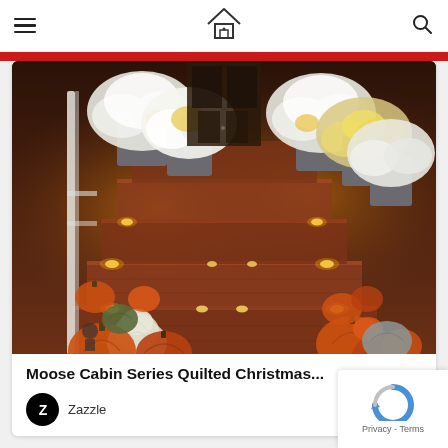[Figure (photo): Brick front porch steps decorated for autumn with orange and white pumpkins on each step, potted white and yellow chrysanthemums, and small candle lights along the edges of each step, leading up to a dark front door]
Moose Cabin Series Quilted Christmas...
Zazzle